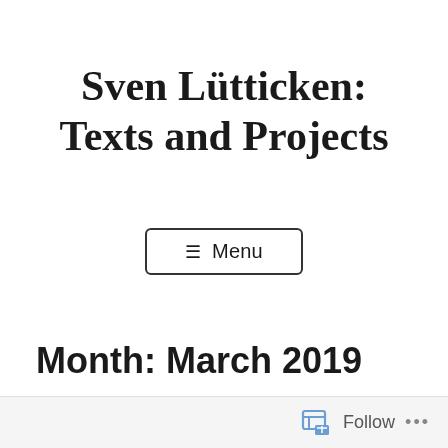Sven Lütticken: Texts and Projects
☰ Menu
Month: March 2019
Follow ...